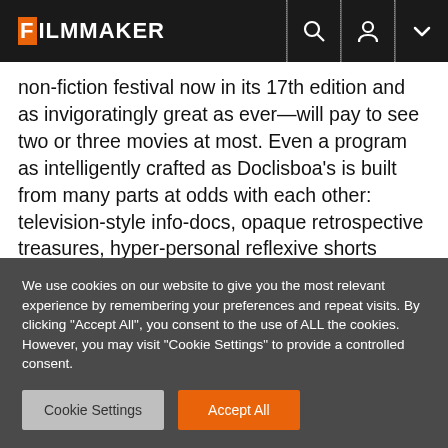FILMMAKER
non-fiction festival now in its 17th edition and as invigoratingly great as ever—will pay to see two or three movies at most. Even a program as intelligently crafted as Doclisboa's is built from many parts at odds with each other: television-style info-docs, opaque retrospective treasures, hyper-personal reflexive shorts untethered from all modes of commercial image making. And even this most integrated and well-formed of programs is spread over cinemas across the city; from the Cinemateca
We use cookies on our website to give you the most relevant experience by remembering your preferences and repeat visits. By clicking "Accept All", you consent to the use of ALL the cookies. However, you may visit "Cookie Settings" to provide a controlled consent.
Cookie Settings | Accept All